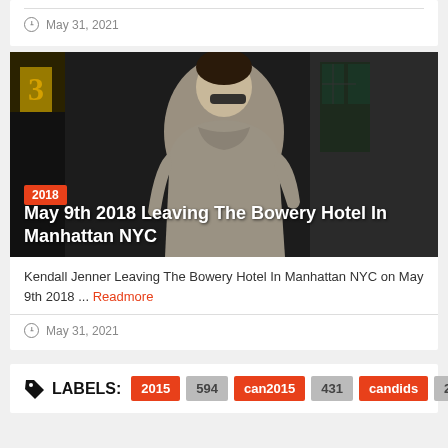May 31, 2021
[Figure (photo): Kendall Jenner wearing a gray long-sleeve dress and dark sunglasses, leaving The Bowery Hotel in Manhattan NYC. A gold number 3 is visible on the left side of the door. Another person in a black shirt is visible on the right.]
2018
May 9th 2018 Leaving The Bowery Hotel In Manhattan NYC
Kendall Jenner Leaving The Bowery Hotel In Manhattan NYC on May 9th 2018 ... Readmore
May 31, 2021
LABELS: 2015 594 can2015 431 candids 2417